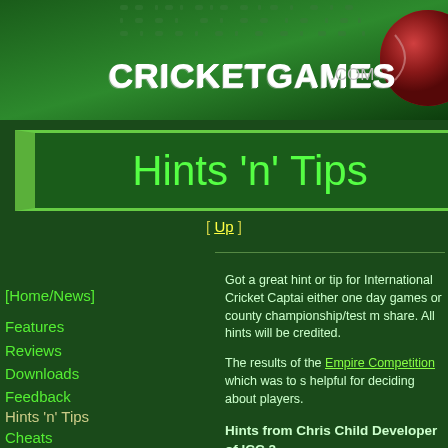[Figure (screenshot): CricketGames.com website header banner with site logo and cricket ball graphic on dark green background]
Hints 'n' Tips
[ Up ]
[Home/News]
Features
Reviews
Downloads
Feedback
Hints 'n' Tips
Cheats
Wish List
Links
Screenshots
[Affiliate Program]
Got a great hint or tip for International Cricket Captain either one day games or county championship/test m share. All hints will be credited.
The results of the Empire Competition which was to s helpful for deciding about players.
Hints from Chris Child Developer of ICC 2
Chris submitted these hints and replies to specific qu
Bowling Tactics: